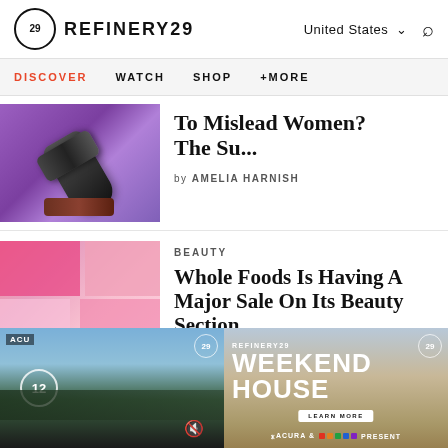REFINERY29 — United States
DISCOVER  WATCH  SHOP  +MORE
[Figure (photo): Photo of a judge's gavel on a purple/violet background]
To Mislead Women? The Su...
by AMELIA HARNISH
[Figure (photo): Beauty products arranged with pink and colorful packaging tiles]
BEAUTY
Whole Foods Is Having A Major Sale On Its Beauty Section
[Figure (screenshot): Video panel left: indoor/outdoor scene with counter 12 and mute icon, ACU badge]
[Figure (screenshot): Video panel right: Refinery29 Weekend House branded content with ACURA & colorful logo PRESENT]